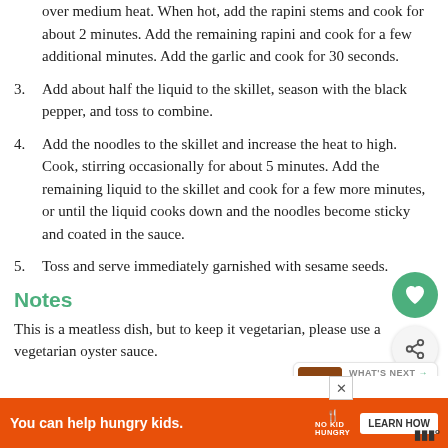over medium heat. When hot, add the rapini stems and cook for about 2 minutes. Add the remaining rapini and cook for a few additional minutes. Add the garlic and cook for 30 seconds.
3. Add about half the liquid to the skillet, season with the black pepper, and toss to combine.
4. Add the noodles to the skillet and increase the heat to high. Cook, stirring occasionally for about 5 minutes. Add the remaining liquid to the skillet and cook for a few more minutes, or until the liquid cooks down and the noodles become sticky and coated in the sauce.
5. Toss and serve immediately garnished with sesame seeds.
Notes
This is a meatless dish, but to keep it vegetarian, please use a vegetarian oyster sauce.
[Figure (other): What's Next panel showing Spicy Eggplant Sti... with food photo]
[Figure (other): Advertisement banner: You can help hungry kids. No Kid Hungry. Learn How.]